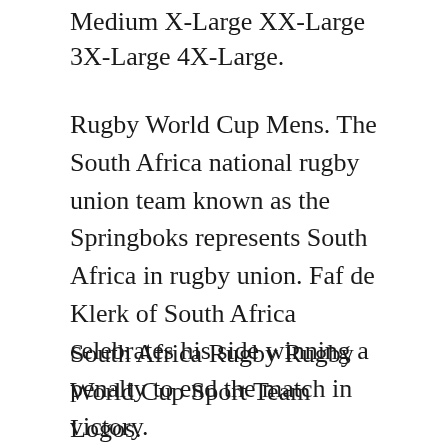Medium X-Large XX-Large 3X-Large 4X-Large.
Rugby World Cup Mens. The South Africa national rugby union team known as the Springboks represents South Africa in rugby union. Faf de Klerk of South Africa celebrates his side winning a penalty to end the match in victory.
South Africa Rugby Rugby World Cup Sport Team Logos.